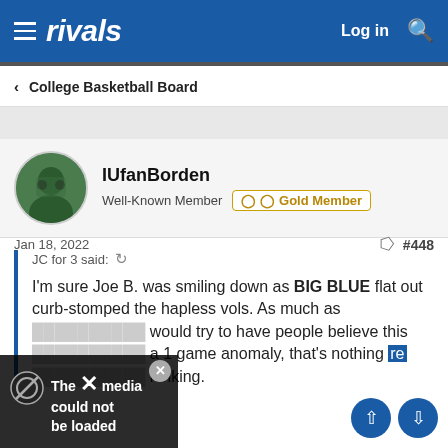rivals  Log in
< College Basketball Board
IUfanBorden
Well-Known Member  Gold Member
Jan 18, 2022   #448
JC for 3 said:  I'm sure Joe B. was smiling down as BIG BLUE flat out curb-stomped the hapless vols. As much as would try to have people believe this a 1 game anomaly, that's nothing re hinking.
[Figure (screenshot): Media overlay with no-symbol icon and X close button showing 'The media could not be loaded']
[Figure (other): Navigation up/down arrow buttons]